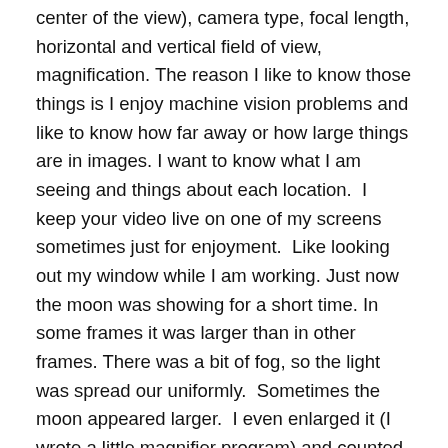center of the view), camera type, focal length, horizontal and vertical field of view, magnification. The reason I like to know those things is I enjoy machine vision problems and like to know how far away or how large things are in images. I want to know what I am seeing and things about each location.  I keep your video live on one of my screens sometimes just for enjoyment.  Like looking out my window while I am working. Just now the moon was showing for a short time. In some frames it was larger than in other frames. There was a bit of fog, so the light was spread our uniformly.  Sometimes the moon appeared larger.  I even enlarged it (I wrote a little magnifier program) and counted the pixels.  In some frames it was about 40 pixels wide, and then a few minutes later when the clouds were open again, it looked to be 44 pixels wide.  The moon is about 387,000 km away today (I googled "How far away is the moon